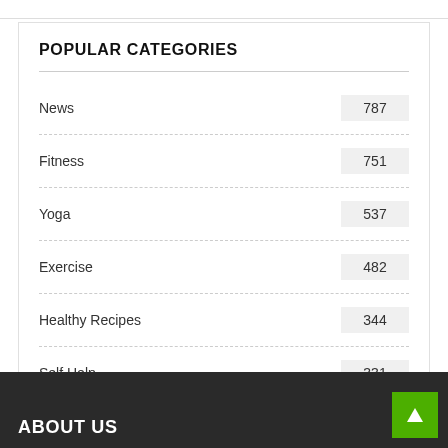POPULAR CATEGORIES
News 787
Fitness 751
Yoga 537
Exercise 482
Healthy Recipes 344
Self Help 331
ABOUT US